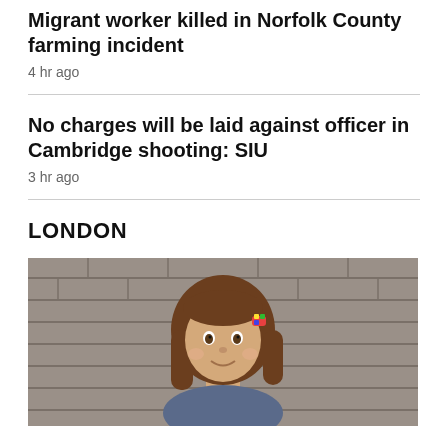Migrant worker killed in Norfolk County farming incident
4 hr ago
No charges will be laid against officer in Cambridge shooting: SIU
3 hr ago
LONDON
[Figure (photo): Photo of a young girl with long brown hair and a colorful hair clip, smiling, in front of a stone wall background.]